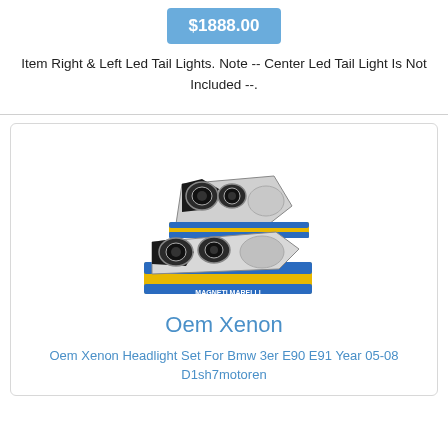$1888.00
Item Right & Left Led Tail Lights. Note -- Center Led Tail Light Is Not Included --.
[Figure (photo): Two BMW xenon headlights stacked on blue/yellow product boxes with Magneti Marelli branding]
Oem Xenon
Oem Xenon Headlight Set For Bmw 3er E90 E91 Year 05-08 D1sh7motoren